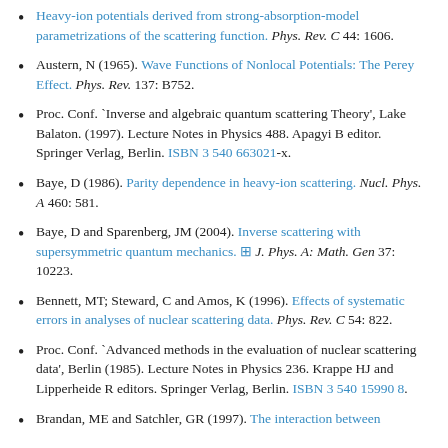Heavy-ion potentials derived from strong-absorption-model parametrizations of the scattering function. Phys. Rev. C 44: 1606.
Austern, N (1965). Wave Functions of Nonlocal Potentials: The Perey Effect. Phys. Rev. 137: B752.
Proc. Conf. `Inverse and algebraic quantum scattering Theory', Lake Balaton. (1997). Lecture Notes in Physics 488. Apagyi B editor. Springer Verlag, Berlin. ISBN 3 540 663021-x.
Baye, D (1986). Parity dependence in heavy-ion scattering. Nucl. Phys. A 460: 581.
Baye, D and Sparenberg, JM (2004). Inverse scattering with supersymmetric quantum mechanics. ⊡ J. Phys. A: Math. Gen 37: 10223.
Bennett, MT; Steward, C and Amos, K (1996). Effects of systematic errors in analyses of nuclear scattering data. Phys. Rev. C 54: 822.
Proc. Conf. `Advanced methods in the evaluation of nuclear scattering data', Berlin (1985). Lecture Notes in Physics 236. Krappe HJ and Lipperheide R editors. Springer Verlag, Berlin. ISBN 3 540 15990 8.
Brandan, ME and Satchler, GR (1997). The interaction between